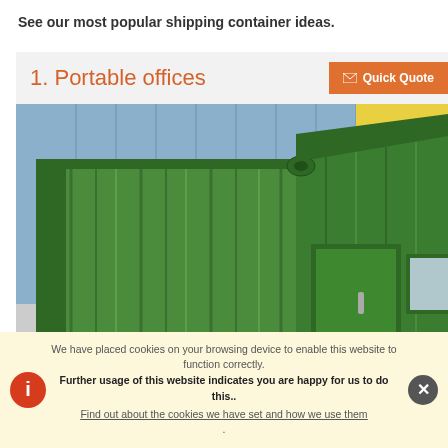See our most popular shipping container ideas.
1. Portable offices
[Figure (photo): Close-up photo of a bright green shipping container with corrugated walls, a door with a handle, and a corner fitting visible at the top. A blue/grey corrugated wall is visible in the background.]
We have placed cookies on your browsing device to enable this website to function correctly.
Further usage of this website indicates you are happy for us to do this..
Find out about the cookies we have set and how we use them.